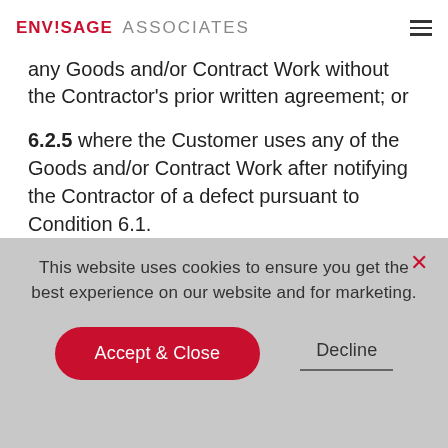ENVISAGE ASSOCIATES
any Goods and/or Contract Work without the Contractor's prior written agreement; or
6.2.5 where the Customer uses any of the Goods and/or Contract Work after notifying the Contractor of a defect pursuant to Condition 6.1.
This website uses cookies to ensure you get the best experience on our website and for marketing.
Accept & Close
Decline